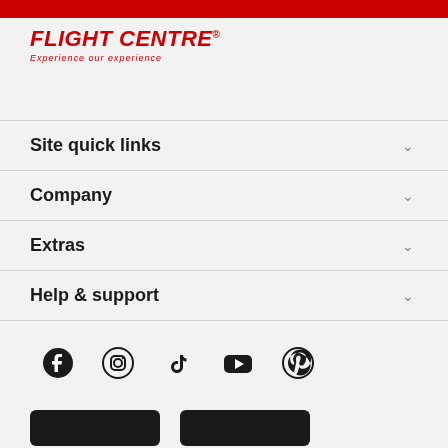[Figure (logo): Flight Centre logo with red bold italic text and tagline 'Experience our experience']
Site quick links
Company
Extras
Help & support
[Figure (other): Social media icons row: Facebook, Instagram, TikTok, YouTube, Pinterest]